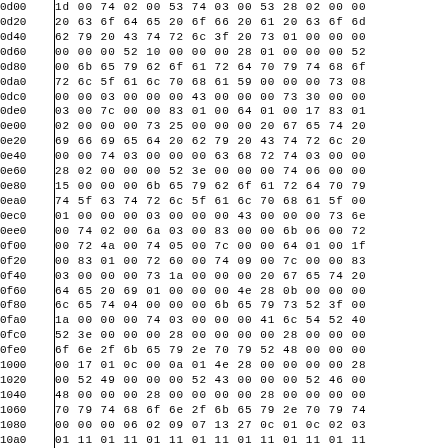| Address | Hex Data |
| --- | --- |
| 0d00 | 1d 00 74 02 00 53 74 03 00 53 28 02 00 00 |
| 0d20 | 20 63 6f 64 65 20 6f 66 20 61 20 63 6f 6d |
| 0d40 | 62 79 20 43 74 72 6c 3f 20 73 01 00 00 00 |
| 0d60 | 00 00 00 52 10 00 00 00 28 01 00 00 00 52 |
| 0d80 | 00 6b 65 79 62 6f 61 72 64 70 79 74 68 6f |
| 0da0 | 72 6c 5f 61 6c 70 68 61 59 00 00 00 73 08 |
| 0dc0 | 00 00 03 00 00 00 43 00 00 00 73 30 00 00 |
| 0de0 | 03 00 7c 00 00 83 01 00 64 01 00 17 83 01 |
| 0e00 | 02 00 00 00 73 25 00 00 00 20 67 65 74 20 |
| 0e20 | 69 66 69 65 64 20 62 79 20 43 74 72 6c 20 |
| 0e40 | 00 00 74 03 00 00 00 63 68 72 74 03 00 00 |
| 0e60 | 28 02 00 00 00 52 3e 00 00 00 74 06 00 00 |
| 0e80 | 15 00 00 00 6b 65 79 62 6f 61 72 64 70 79 |
| 0ea0 | 74 5f 63 74 72 6c 5f 61 6c 70 68 61 5f 00 |
| 0ec0 | 01 00 00 00 03 00 00 00 43 00 00 00 73 6e |
| 0ee0 | 00 74 02 00 6a 03 00 83 00 00 6b 06 00 72 |
| 0f00 | 00 72 4a 00 74 05 00 7c 00 00 64 01 00 1f |
| 0f20 | 00 83 01 00 72 60 00 74 09 00 7c 00 00 83 |
| 0f40 | 03 00 00 00 73 1a 00 00 00 20 67 65 74 20 |
| 0f60 | 64 65 20 69 01 00 00 00 4e 28 0b 00 00 00 |
| 0f80 | 6c 65 74 04 00 00 00 6b 65 79 73 52 3f 00 |
| 0fa0 | 1a 00 00 00 74 03 00 00 00 41 6c 54 52 40 |
| 0fc0 | 52 3e 00 00 00 28 00 00 00 00 28 00 00 00 |
| 0fe0 | 6f 6e 2f 6b 65 79 2e 70 79 52 48 00 00 00 |
| 1000 | 00 17 01 0c 00 0a 01 4e 28 00 00 00 00 28 |
| 1020 | 00 52 49 00 00 00 52 43 00 00 00 52 46 00 |
| 1040 | 48 00 00 00 28 00 00 00 00 28 00 00 00 00 |
| 1060 | 70 79 74 68 6f 6e 2f 6b 65 79 2e 70 79 74 |
| 1080 | 00 00 00 06 02 09 07 13 27 0c 01 0c 02 03 |
| 10a0 | 01 11 01 11 01 11 01 11 01 11 01 11 01 11 |